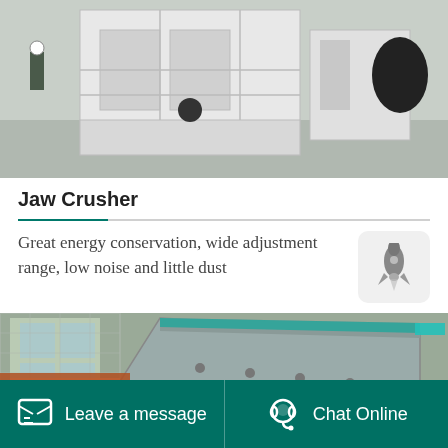[Figure (photo): Industrial jaw crusher machines in a factory warehouse, large white metal crushing equipment with workers visible in background]
Jaw Crusher
Great energy conservation, wide adjustment range, low noise and little dust
[Figure (photo): Industrial vibratory screening or feeding equipment with blue-tipped metal parts in a factory setting with orange machinery visible]
Leave a message   Chat Online